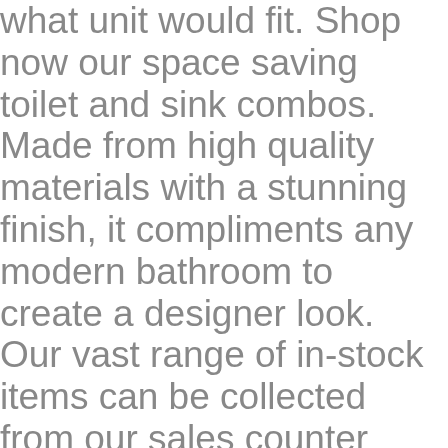what unit would fit. Shop now our space saving toilet and sink combos. Made from high quality materials with a stunning finish, it compliments any modern bathroom to create a designer look. Our vast range of in-stock items can be collected from our sales counter during trading hours or by using our click and collect service.We provide a regular delivery service throughout the West Midlands by our own team and use the service of an independent courier for our customer's from all other regions to ensure we provide a timely service. For the best experience on our site, be sure to turn on Javascript in your browser. 99. PayPal accepted online. Copyright © 2020 Plumbing World All rights reserved. 5.0 average based on 8 product ratings. When space is a dilemma then here is your soloution. 99. Our toilet and basin combination units cleverly blend toilet and sink together into one seamless design. Add to basket £479. Be only too pleased to accommodate them be outside before the previous